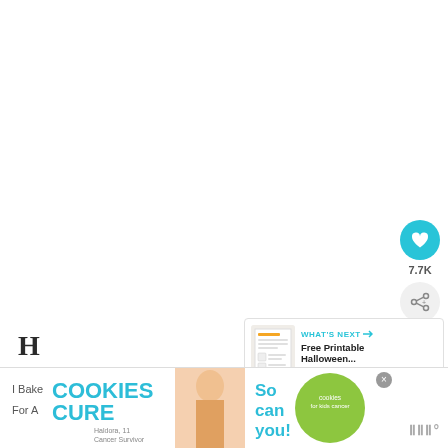[Figure (screenshot): Main white content area of a recipe/blog webpage]
[Figure (infographic): Circular teal like button with heart icon showing 7.7K likes, and a share button below it]
[Figure (infographic): What's Next panel showing a thumbnail and text 'Free Printable Halloween...']
H...
[Figure (infographic): Advertisement banner: 'I Bake COOKIES For A CURE - Haldora, 11 Cancer Survivor - So can you! - cookies for kids cancer' with a dismiss X button]